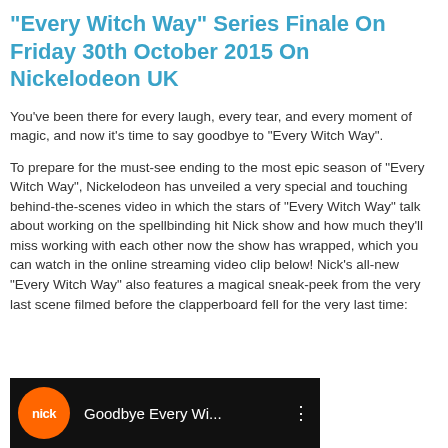"Every Witch Way" Series Finale On Friday 30th October 2015 On Nickelodeon UK
You've been there for every laugh, every tear, and every moment of magic, and now it's time to say goodbye to "Every Witch Way".
To prepare for the must-see ending to the most epic season of "Every Witch Way", Nickelodeon has unveiled a very special and touching behind-the-scenes video in which the stars of "Every Witch Way" talk about working on the spellbinding hit Nick show and how much they'll miss working with each other now the show has wrapped, which you can watch in the online streaming video clip below! Nick's all-new "Every Witch Way" also features a magical sneak-peek from the very last scene filmed before the clapperboard fell for the very last time:
[Figure (screenshot): Video thumbnail showing Nickelodeon orange logo with 'nick' text and video title 'Goodbye Every Wi...' on dark background]